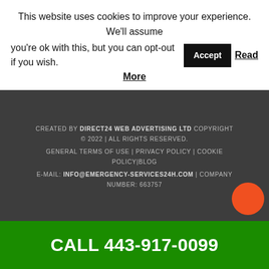This website uses cookies to improve your experience. We'll assume you're ok with this, but you can opt-out if you wish. Accept Read More
CREATED BY DIRECT24 WEB ADVERTISING LTD COPYRIGHT © 2022 | ALL RIGHTS RESERVED. GENERAL TERMS OF USE | PRIVACY POLICY | COOKIE POLICY|BLOG E-MAIL: INFO@EMERGENCY-SERVICES24H.COM | COMPANY NUMBER: 663757
CALL 443-917-0099